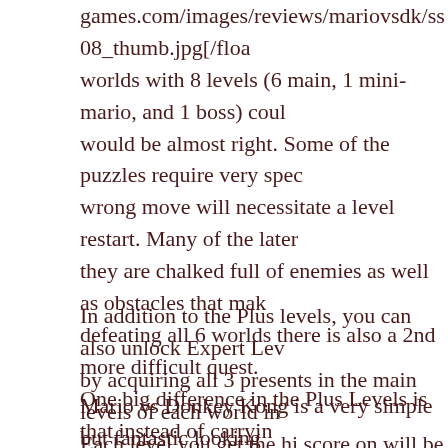games.com/images/reviews/mariovsdk/ss08_thumb.jpg[/floa worlds with 8 levels (6 main, 1 mini-mario, and 1 boss) coul would be almost right. Some of the puzzles require very spec wrong move will necessitate a level restart. Many of the later they are chalked full of enemies as well as obstacles that mak defeating all 6 worlds there is also a 2nd more difficult quest. One big difference in the Plus Levels is that instead of carryin Mini-Mario and lead him to the door to unlock it in the same Mini-Mario worlds of each level.
In addition to the Plus levels, you can also unlock Expert Lev by acquiring all 3 presents in the main levels of each world in Each level you get the hi score on will be denoted with a gol hardest of the bunch.
Mario vs Donkey Kong is a very simple but fantastic looking really rocks. The short but difficult levels make it easy to sto